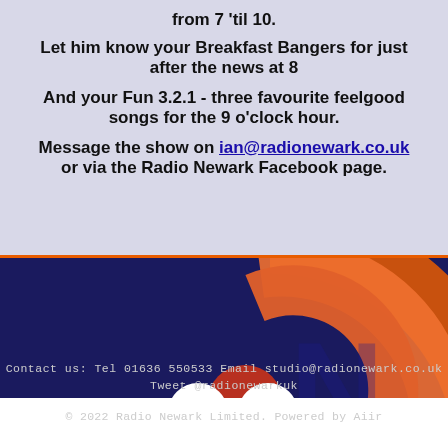from 7 'til 10.
Let him know your Breakfast Bangers for just after the news at 8
And your Fun 3.2.1 - three favourite feelgood songs for the 9 o'clock hour.
Message the show on ian@radionewark.co.uk or via the Radio Newark Facebook page.
[Figure (logo): Radio Newark RSS-style logo with orange arcs and circle on dark blue background, with Facebook and Twitter social media icon circles]
Contact us: Tel 01636 550533 Email studio@radionewark.co.uk Tweet @radionewarkuk
© 2022 Radio Newark Limited. Powered by Aiir